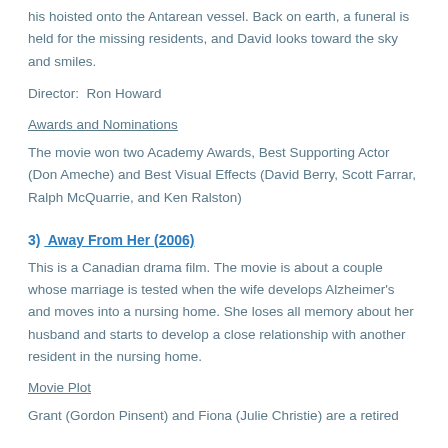his hoisted onto the Antarean vessel. Back on earth, a funeral is held for the missing residents, and David looks toward the sky and smiles.
Director:  Ron Howard
Awards and Nominations
The movie won two Academy Awards, Best Supporting Actor (Don Ameche) and Best Visual Effects (David Berry, Scott Farrar, Ralph McQuarrie, and Ken Ralston)
3)  Away From Her (2006)
This is a Canadian drama film. The movie is about a couple whose marriage is tested when the wife develops Alzheimer's and moves into a nursing home. She loses all memory about her husband and starts to develop a close relationship with another resident in the nursing home.
Movie Plot
Grant (Gordon Pinsent) and Fiona (Julie Christie) are a retired